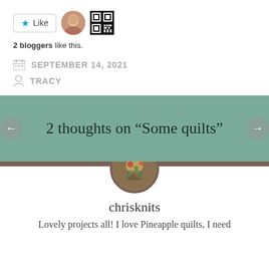[Figure (other): Like button with star icon, blogger avatar photo, and QR code]
2 bloggers like this.
SEPTEMBER 14, 2021
TRACY
2 thoughts on “Some quilts”
[Figure (photo): Circular commenter avatar showing quilt-related image]
chrisknits
Lovely projects all! I love Pineapple quilts, I need